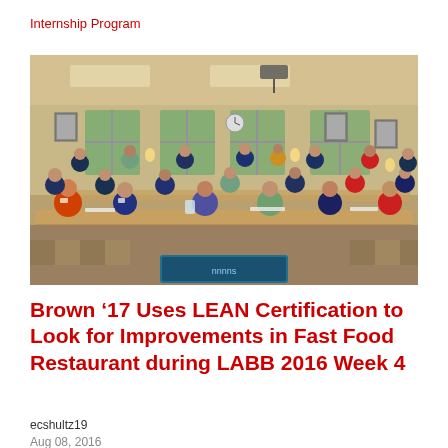Internship Program
[Figure (photo): Group photo of approximately 25-30 young men seated and standing around tables in a conference/classroom room setting. They are wearing name tags and casual business attire. The room has large windows, framed pictures on walls, wall sconces, and a projector mounted from the ceiling. A screen or monitor is visible in the foreground.]
Brown ’17 Uses LEAN Certification to Look for Improvements in Fast Food Restaurant during LABB 2016 Week 4
ecshultz19
Aug 08, 2016